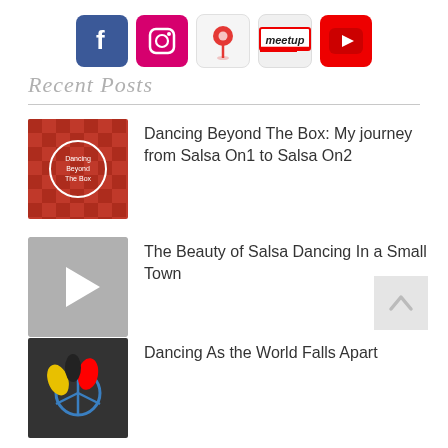[Figure (illustration): Row of 5 social media icons: Facebook (blue), Instagram (pink/red), Google Maps (pin on white), Meetup (red/white logo on grey), YouTube (red with play button)]
Recent Posts
[Figure (illustration): Thumbnail for 'Dancing Beyond The Box' post: red checkerboard pattern with white circle containing text 'Dancing Beyond The Box']
Dancing Beyond The Box: My journey from Salsa On1 to Salsa On2
[Figure (illustration): Thumbnail for video post: grey background with white play button triangle]
The Beauty of Salsa Dancing In a Small Town
[Figure (illustration): Back to top button: light grey square with upward chevron arrow]
[Figure (illustration): Thumbnail for 'Dancing As the World Falls Apart' post: dark image with colorful hands and peace symbol]
Dancing As the World Falls Apart